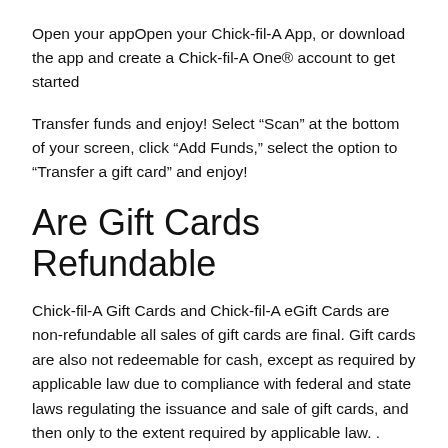Open your appOpen your Chick-fil-A App, or download the app and create a Chick-fil-A One® account to get started
Transfer funds and enjoy! Select “Scan” at the bottom of your screen, click “Add Funds,” select the option to “Transfer a gift card” and enjoy!
Are Gift Cards Refundable
Chick-fil-A Gift Cards and Chick-fil-A eGift Cards are non-refundable all sales of gift cards are final. Gift cards are also not redeemable for cash, except as required by applicable law due to compliance with federal and state laws regulating the issuance and sale of gift cards, and then only to the extent required by applicable law. .